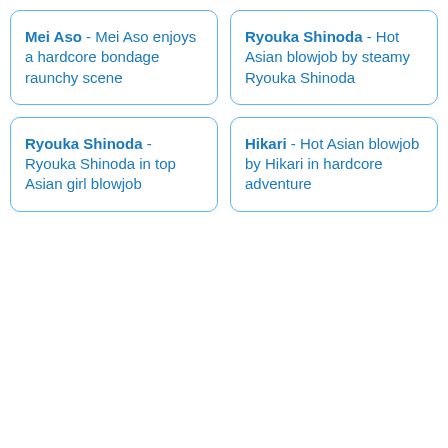Mei Aso - Mei Aso enjoys a hardcore bondage raunchy scene
Ryouka Shinoda - Hot Asian blowjob by steamy Ryouka Shinoda
Ryouka Shinoda - Ryouka Shinoda in top Asian girl blowjob
Hikari - Hot Asian blowjob by Hikari in hardcore adventure